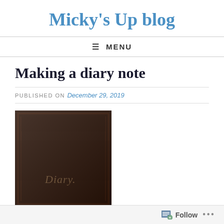Micky's Up blog
≡ MENU
Making a diary note
PUBLISHED ON December 29, 2019
[Figure (photo): A dark brown leather diary book cover with the word 'Diary' written in cursive script on the front.]
Follow